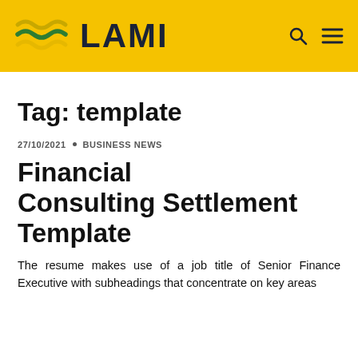LAMI
Tag: template
27/10/2021 · BUSINESS NEWS
Financial Consulting Settlement Template
The resume makes use of a job title of Senior Finance Executive with subheadings that concentrate on key areas